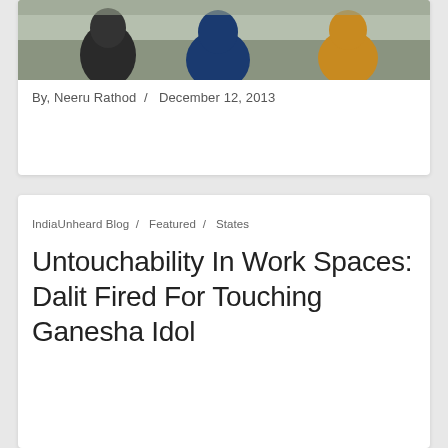[Figure (photo): Photograph showing three people from behind, outdoors with trees in background, cropped at top of page]
By, Neeru Rathod /  December 12, 2013
IndiaUnheard Blog /  Featured /  States
Untouchability In Work Spaces: Dalit Fired For Touching Ganesha Idol